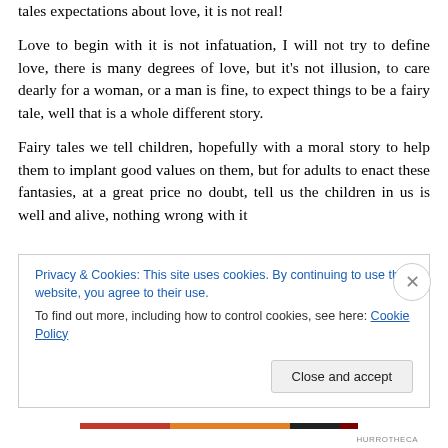tales expectations about love, it is not real!
Love to begin with it is not infatuation, I will not try to define love, there is many degrees of love, but it's not illusion, to care dearly for a woman, or a man is fine, to expect things to be a fairy tale, well that is a whole different story.
Fairy tales we tell children, hopefully with a moral story to help them to implant good values on them, but for adults to enact these fantasies, at a great price no doubt, tell us the children in us is well and alive, nothing wrong with it
Privacy & Cookies: This site uses cookies. By continuing to use this website, you agree to their use.
To find out more, including how to control cookies, see here: Cookie Policy
Close and accept